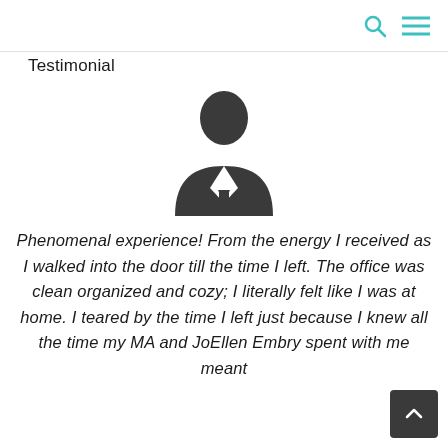[navigation icons: search, menu]
Testimonial
[Figure (illustration): Generic avatar/person silhouette icon — dark filled person bust with suit]
Phenomenal experience! From the energy I received as I walked into the door till the time I left. The office was clean organized and cozy; I literally felt like I was at home. I teared by the time I left just because I knew all the time my MA and JoEllen Embry spent with me meant